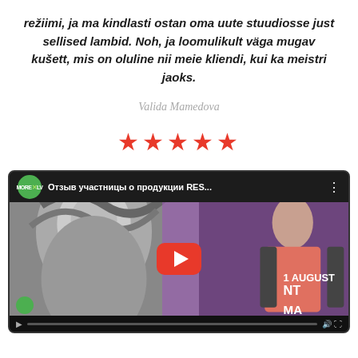režiimi, ja ma kindlasti ostan oma uute stuudiosse just sellised lambid. Noh, ja loomulikult väga mugav kušett, mis on oluline nii meie kliendi, kui ka meistri jaoks.
Valida Mamedova
[Figure (other): Five red star rating icons]
[Figure (screenshot): YouTube video thumbnail showing 'Отзыв участницы о продукции RES...' from MoreXLV channel, with a woman standing in front of a promotional banner for a beauty event (1 August), and a YouTube play button overlay in red and white.]